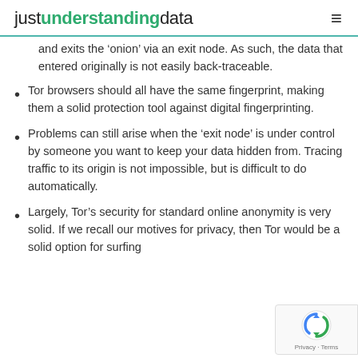justunderstandingdata
and exits the ‘onion’ via an exit node. As such, the data that entered originally is not easily back-traceable.
Tor browsers should all have the same fingerprint, making them a solid protection tool against digital fingerprinting.
Problems can still arise when the ‘exit node’ is under control by someone you want to keep your data hidden from. Tracing traffic to its origin is not impossible, but is difficult to do automatically.
Largely, Tor’s security for standard online anonymity is very solid. If we recall our motives for privacy, then Tor would be a solid option for surfing